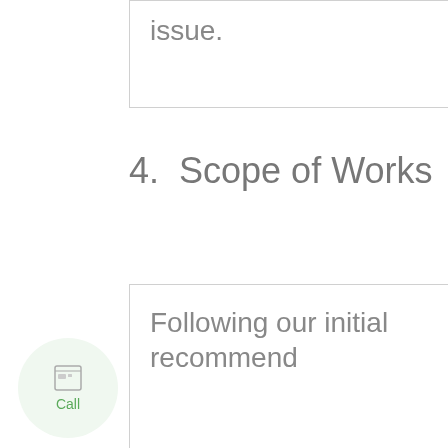issue.
4.  Scope of Works
Following our initial recommend